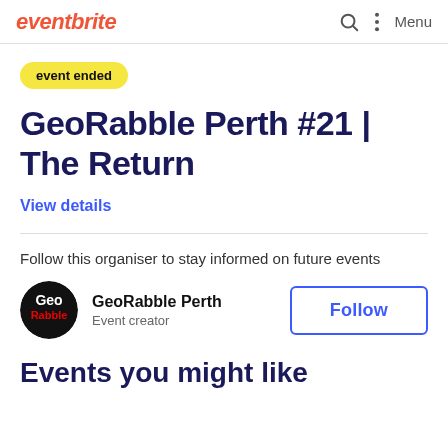eventbrite  Menu
event ended
GeoRabble Perth #21 | The Return
View details
Follow this organiser to stay informed on future events
[Figure (logo): GeoRabble Perth logo - circular black background with Geo and Rabble stylized text]
GeoRabble Perth
Event creator
Follow
Events you might like